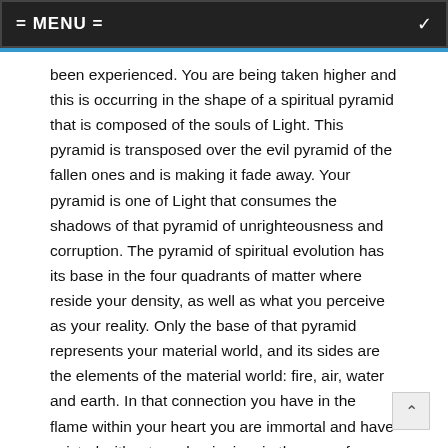= MENU =
been experienced. You are being taken higher and this is occurring in the shape of a spiritual pyramid that is composed of the souls of Light. This pyramid is transposed over the evil pyramid of the fallen ones and is making it fade away. Your pyramid is one of Light that consumes the shadows of that pyramid of unrighteousness and corruption. The pyramid of spiritual evolution has its base in the four quadrants of matter where reside your density, as well as what you perceive as your reality. Only the base of that pyramid represents your material world, and its sides are the elements of the material world: fire, air, water and earth. In that connection you have in the flame within your heart you are immortal and have existed without any beginning, in the now of a spiritual existence without time, deterioration, or change. The paradoxical element to this matter simply is that at one time you were born in the higher etheric dimensions as twin flames that are inseparable in that moment you penetrated the world of form, the body of the World Mother.